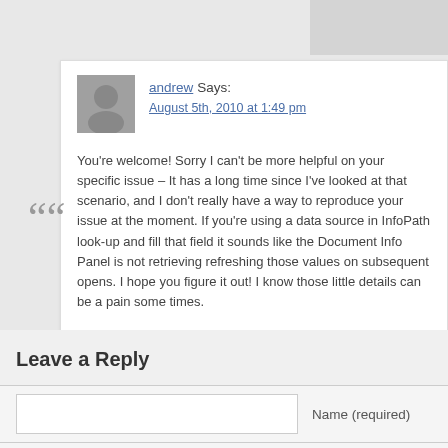andrew Says:
August 5th, 2010 at 1:49 pm
You're welcome! Sorry I can't be more helpful on your specific issue – It has a long time since I've looked at that scenario, and I don't really have a way to reproduce your issue at the moment. If you're using a data source in InfoPath look-up and fill that field it sounds like the Document Info Panel is not retrieving refreshing those values on subsequent opens. I hope you figure it out! I know those little details can be a pain some times.
Leave a Reply
Name (required)
Mail (will not be published) (required)
Website